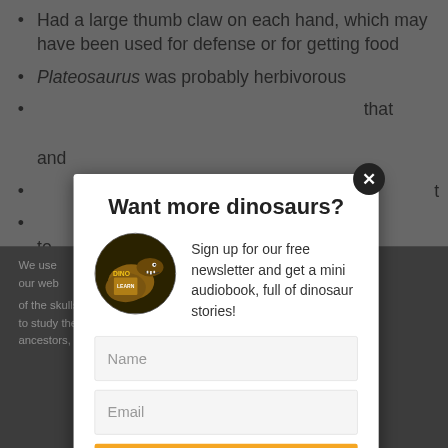Had a large thumb claw on each hand, which may have been used for defense or for getting food
Plateosaurus was probably herbivorous
[partially obscured text] that [obscured] and
[partially obscured] t [obscured]
[partially obscured] em to
[Figure (screenshot): Modal popup dialog over a blurred/darkened webpage background. The modal has title 'Want more dinosaurs?', a circular dinosaur book image, descriptive text, Name and Email input fields, and an orange Subscribe button. A close (X) button appears at top right of modal.]
Want more dinosaurs?
Sign up for our free newsletter and get a mini audiobook, full of dinosaur stories!
Name
Email
Subscribe
We use [obscured] nce on our web [obscured] hat you of the skulls of Plateosaurus and Coloradosaurus to study the ev auropods and their ancestors, and ate vegetation. They
Ok